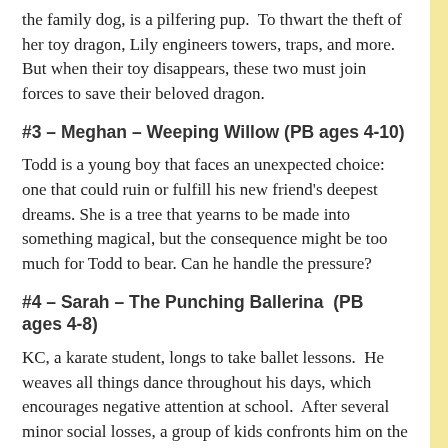the family dog, is a pilfering pup.  To thwart the theft of her toy dragon, Lily engineers towers, traps, and more. But when their toy disappears, these two must join forces to save their beloved dragon.
#3 – Meghan – Weeping Willow (PB ages 4-10)
Todd is a young boy that faces an unexpected choice: one that could ruin or fulfill his new friend's deepest dreams. She is a tree that yearns to be made into something magical, but the consequence might be too much for Todd to bear. Can he handle the pressure?
#4 – Sarah – The Punching Ballerina  (PB ages 4-8)
KC, a karate student, longs to take ballet lessons.  He weaves all things dance throughout his days, which encourages negative attention at school.  After several minorsocial losses, a group of kids confronts him on the